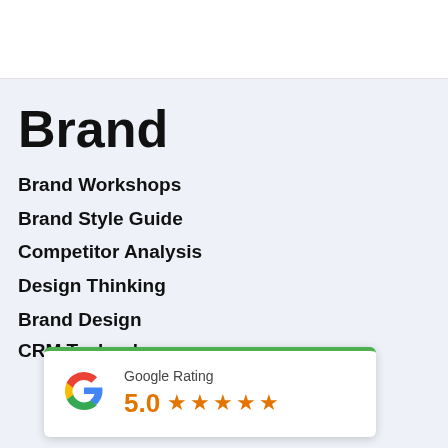Brand
Brand Workshops
Brand Style Guide
Competitor Analysis
Design Thinking
Brand Design
[Figure (other): Google Rating widget showing 5.0 stars with Google logo]
CRM Technology